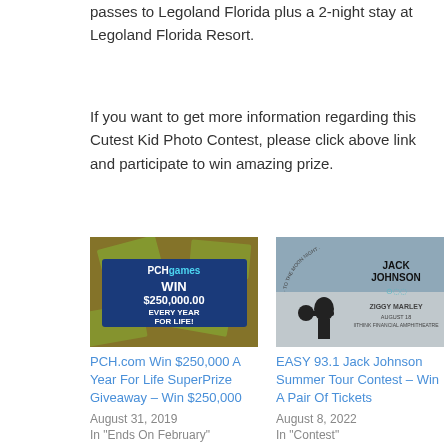passes to Legoland Florida plus a 2-night stay at Legoland Florida Resort.
If you want to get more information regarding this Cutest Kid Photo Contest, please click above link and participate to win amazing prize.
[Figure (photo): PCH games advertisement showing 'WIN $250,000.00 EVERY YEAR FOR LIFE!' with money background]
PCH.com Win $250,000 A Year For Life SuperPrize Giveaway – Win $250,000
August 31, 2019
In "Ends On February"
[Figure (photo): Jack Johnson concert poster with Ziggy Marley, ITHINK Financial Amphitheatre, August 18]
EASY 93.1 Jack Johnson Summer Tour Contest – Win A Pair Of Tickets
August 8, 2022
In "Contest"